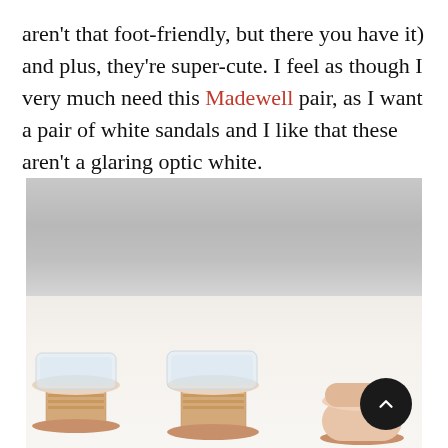aren't that foot-friendly, but there you have it) and plus, they're super-cute. I feel as though I very much need this Madewell pair, as I want a pair of white sandals and I like that these aren't a glaring optic white.
[Figure (photo): Two-part product photo of white/cream slide sandals with transparent panels and wood-effect block heels on a grey-to-white background. A back-to-top button is overlaid in the bottom right corner.]